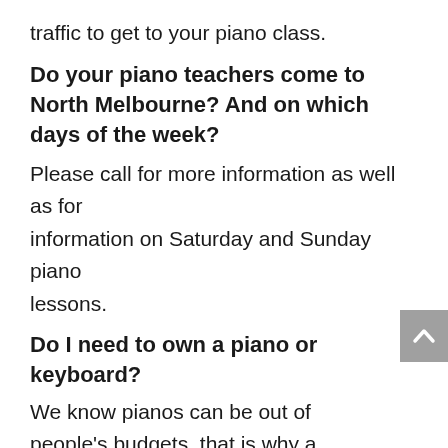traffic to get to your piano class.
Do your piano teachers come to North Melbourne? And on which days of the week?
Please call for more information as well as for information on Saturday and Sunday piano lessons.
Do I need to own a piano or keyboard?
We know pianos can be out of people's budgets, that is why a cheaper keyboard is perfectly fine for beginners.
Introductory keyboards are an easy and affordable option for homes without a piano.